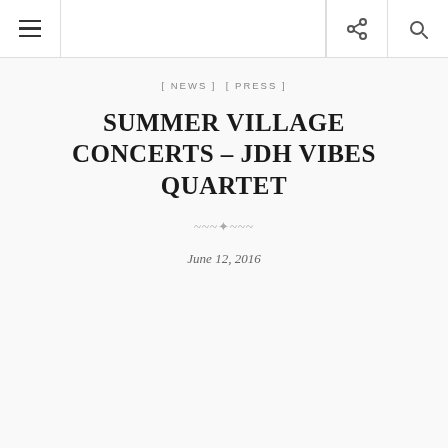[ NEWS ] [ PRESS ]
SUMMER VILLAGE CONCERTS – JDH VIBES QUARTET
June 12, 2016